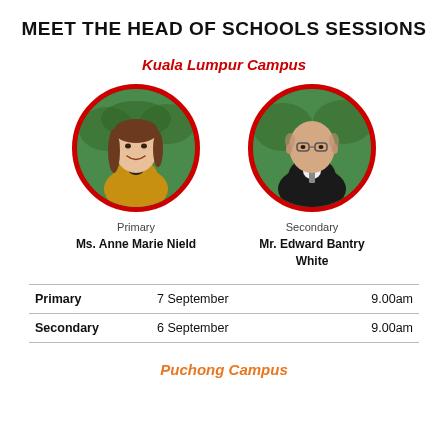MEET THE HEAD OF SCHOOLS SESSIONS
Kuala Lumpur Campus
[Figure (photo): Circular portrait photo with red border of Ms. Anne Marie Nield (Primary), woman smiling in yellow blazer]
[Figure (photo): Circular portrait photo with red border of Mr. Edward Bantry White (Secondary), man in suit and tie]
Primary
Ms. Anne Marie Nield
Secondary
Mr. Edward Bantry White
|  | Date | Time |
| --- | --- | --- |
| Primary | 7 September | 9.00am |
| Secondary | 6 September | 9.00am |
Puchong Campus